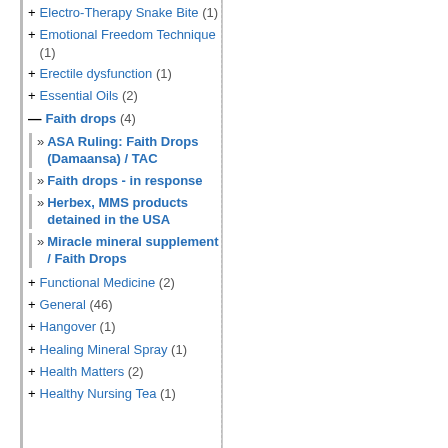+ Electro-Therapy Snake Bite (1)
+ Emotional Freedom Technique (1)
+ Erectile dysfunction (1)
+ Essential Oils (2)
— Faith drops (4)
» ASA Ruling: Faith Drops (Damaansa) / TAC
» Faith drops - in response
» Herbex, MMS products detained in the USA
» Miracle mineral supplement / Faith Drops
+ Functional Medicine (2)
+ General (46)
+ Hangover (1)
+ Healing Mineral Spray (1)
+ Health Matters (2)
+ Healthy Nursing Tea (1)